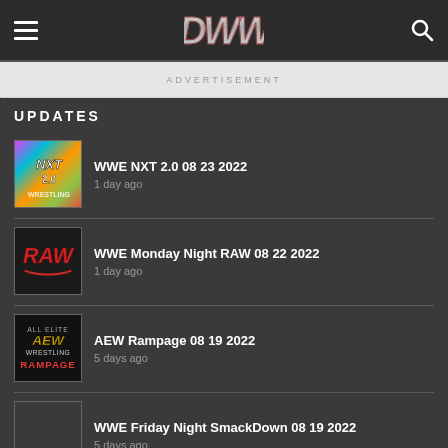DWW navigation header with hamburger menu, DWW logo, and search icon
ADVERTISEMENT
UPDATES
WWE NXT 2.0 08 23 2022
1 day ago
WWE Monday Night RAW 08 22 2022
1 day ago
AEW Rampage 08 19 2022
5 days ago
WWE Friday Night SmackDown 08 19 2022
5 days ago